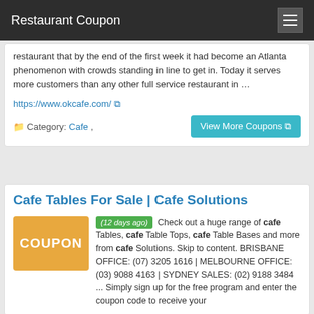Restaurant Coupon
restaurant that by the end of the first week it had become an Atlanta phenomenon with crowds standing in line to get in. Today it serves more customers than any other full service restaurant in …
https://www.okcafe.com/
Category: Cafe ,
View More Coupons
Cafe Tables For Sale | Cafe Solutions
(12 days ago) Check out a huge range of cafe Tables, cafe Table Tops, cafe Table Bases and more from cafe Solutions. Skip to content. BRISBANE OFFICE: (07) 3205 1616 | MELBOURNE OFFICE: (03) 9088 4163 | SYDNEY SALES: (02) 9188 3484 ... Simply sign up for the free program and enter the coupon code to receive your